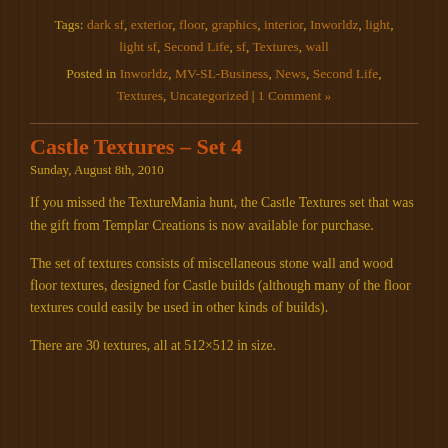Tags: dark sf, exterior, floor, graphics, interior, Inworldz, light, light sf, Second Life, sf, Textures, wall
Posted in Inworldz, MV-SL-Business, News, Second Life, Textures, Uncategorized | 1 Comment »
Castle Textures – Set 4
Sunday, August 8th, 2010
If you missed the TextureMania hunt, the Castle Textures set that was the gift from Templar Creations is now available for purchase.
The set of textures consists of miscellaneous stone wall and wood floor textures, designed for Castle builds (although many of the floor textures could easily be used in other kinds of builds).
There are 30 textures, all at 512×512 in size.